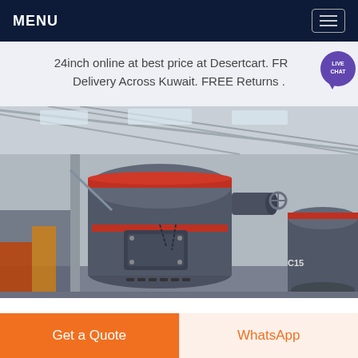MENU
24inch online at best price at Desertcart. FREE Delivery Across Kuwait. FREE Returns .
[Figure (photo): Industrial grinding mill machine inside a factory warehouse. Large grey vertical cylindrical mill with red accent rings, chains, and access doors, surrounded by support structures and other industrial equipment.]
Get a Quote
WhatsApp